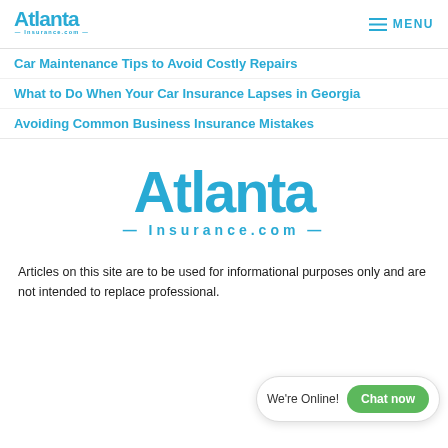Atlanta Insurance.com — MENU
Car Maintenance Tips to Avoid Costly Repairs
What to Do When Your Car Insurance Lapses in Georgia
Avoiding Common Business Insurance Mistakes
[Figure (logo): Atlanta Insurance.com logo in large blue text]
Articles on this site are to be used for informational purposes only and are not intended to replace professional.